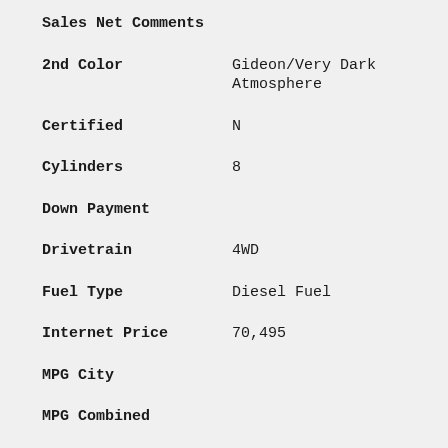Sales Net Comments
2nd Color | Gideon/Very Dark Atmosphere
Certified | N
Cylinders | 8
Down Payment
Drivetrain | 4WD
Fuel Type | Diesel Fuel
Internet Price | 70,495
MPG City
MPG Combined